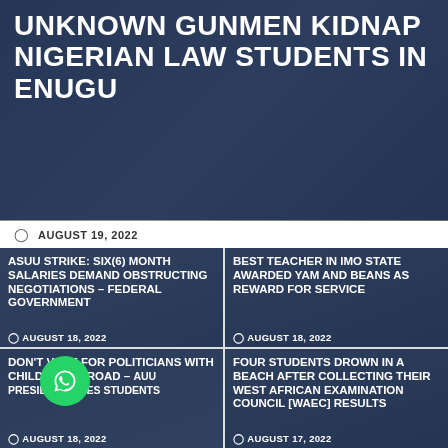UNKNOWN GUNMEN KIDNAP NIGERIAN LAW STUDENTS IN ENUGU
AUGUST 19, 2022
ASUU STRIKE: SIX(6) MONTH SALARIES DEMAND OBSTRUCTING NEGOTIATIONS – FEDERAL GOVERNMENT
AUGUST 18, 2022
BEST TEACHER IN IMO STATE AWARDED YAM AND BEANS AS REWARD FOR SERVICE
AUGUST 18, 2022
DON'T VOTE FOR POLITICIANS WITH CHILDREN ABROAD – ΑUU PRESIDENT ΑCES STUDENTS
AUGUST 18, 2022
FOUR STUDENTS DROWN IN A BEACH AFTER COLLECTING THEIR WEST AFRICAN EXAMINATION COUNCIL [WAEC] RESULTS
AUGUST 17, 2022